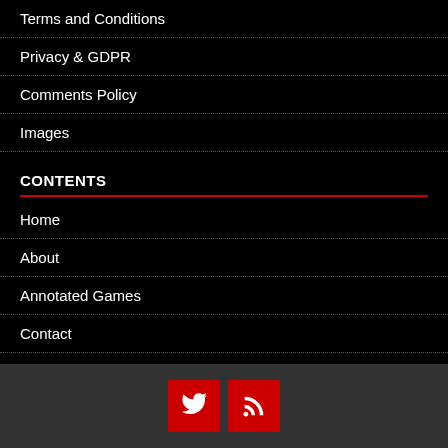Terms and Conditions
Privacy & GDPR
Comments Policy
Images
CONTENTS
Home
About
Annotated Games
Contact
SOCIAL MEDIA
[Figure (infographic): Social media icons: Twitter bird icon and RSS feed icon, both on red square buttons against a dark grey background]